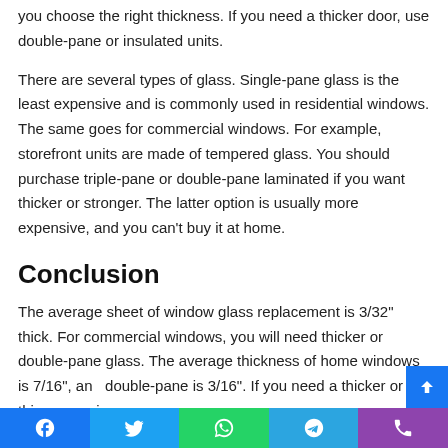you choose the right thickness. If you need a thicker door, use double-pane or insulated units.
There are several types of glass. Single-pane glass is the least expensive and is commonly used in residential windows. The same goes for commercial windows. For example, storefront units are made of tempered glass. You should purchase triple-pane or double-pane laminated if you want thicker or stronger. The latter option is usually more expensive, and you can't buy it at home.
Conclusion
The average sheet of window glass replacement is 3/32" thick. For commercial windows, you will need thicker or double-pane glass. The average thickness of home windows is 7/16", and double-pane is 3/16". If you need a thicker or thinner version
Social share buttons: Facebook, Twitter, WhatsApp, Telegram, Phone